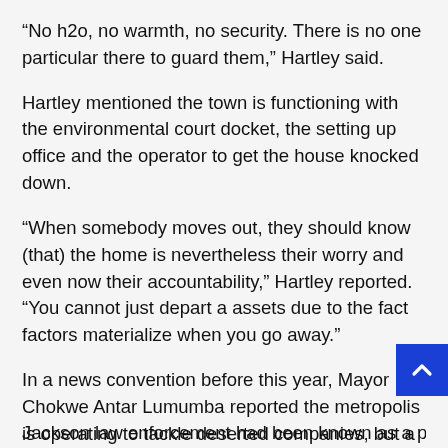“No h2o, no warmth, no security. There is no one particular there to guard them,” Hartley said.
Hartley mentioned the town is functioning with the environmental court docket, the setting up office and the operator to get the house knocked down.
“When somebody moves out, they should know (that) the home is nevertheless their worry and even now their accountability,” Hartley reported. “You cannot just depart a assets due to the fact factors materialize when you go away.”
In a news convention before this year, Mayor Chokwe Antar Lumumba reported the metropolis is operating to tackle deserted companies, but a single major structure like the old lodge, could account Jackson’s complete demolition spending plan.
Jackson law enforcement had been known as a pin